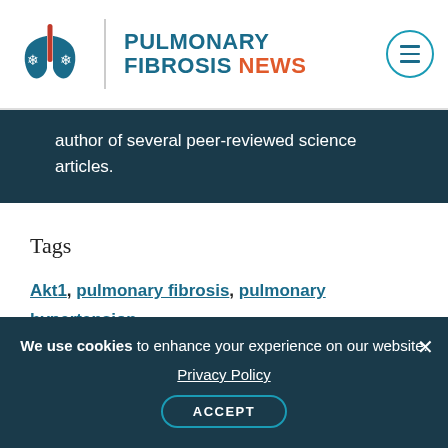Pulmonary Fibrosis News
author of several peer-reviewed science articles.
Tags
Akt1, pulmonary fibrosis, pulmonary hypertension, triciribine
We use cookies to enhance your experience on our website. Privacy Policy ACCEPT